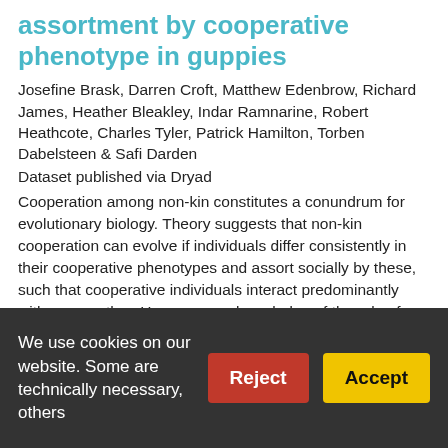assortment by cooperative phenotype in guppies
Josefine Brask, Darren Croft, Matthew Edenbrow, Richard James, Heather Bleakley, Indar Ramnarine, Robert Heathcote, Charles Tyler, Patrick Hamilton, Torben Dabelsteen & Safi Darden
Dataset published via Dryad
Cooperation among non-kin constitutes a conundrum for evolutionary biology. Theory suggests that non-kin cooperation can evolve if individuals differ consistently in their cooperative phenotypes and assort socially by these, such that cooperative individuals interact predominantly with one another. However, our knowledge of the role of cooperative phenotypes in the social structuring of real-world animal populations is minimal. In this study, we investigated cooperative phenotypes and their link to social structure in wild Trinidadian guppies
We use cookies on our website. Some are technically necessary, others